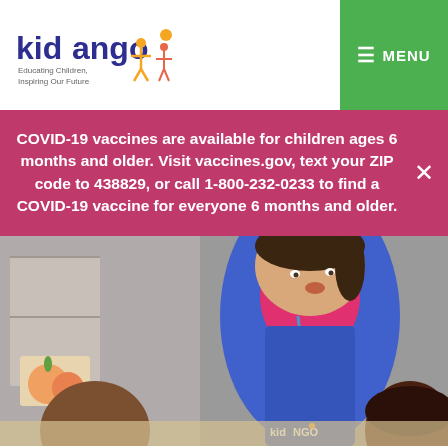[Figure (logo): Kidango logo with stylized figures and tagline 'Educating Children, Inspiring Our Future']
≡ MENU
COVID-19 vaccines are available for children ages 6 months and older. Visit vaccines.gov, text your ZIP code to 438829, or call 1-800-232-0233 to find a COVID-19 vaccine for everyone 6 months and older.
[Figure (photo): Teacher in blue Kidango vest leaning over table with two young children, educational setting with food images in background]